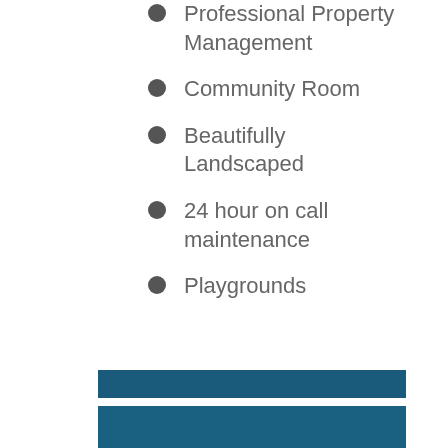Professional Property Management
Community Room
Beautifully Landscaped
24 hour on call maintenance
Playgrounds
[Figure (other): Dark teal horizontal bar at bottom of page]
[Figure (other): Dark teal rectangle at very bottom of page]